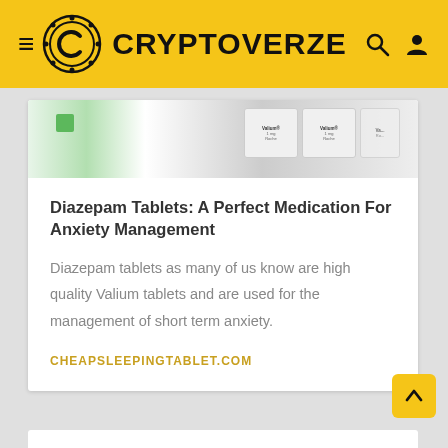CRYPTOVERZE
[Figure (photo): Partial view of Diazepam/Valium tablet blister packs at top of article card]
Diazepam Tablets: A Perfect Medication For Anxiety Management
Diazepam tablets as many of us know are high quality Valium tablets and are used for the management of short term anxiety.
CHEAPSLEEPINGTABLET.COM